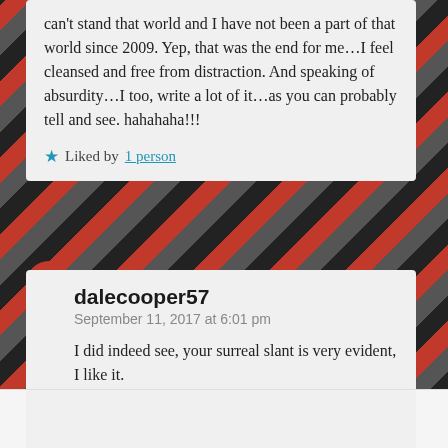can't stand that world and I have not been a part of that world since 2009. Yep, that was the end for me...I feel cleansed and free from distraction. And speaking of absurdity...I too, write a lot of it...as you can probably tell and see. hahahaha!!!
Liked by 1 person
dalecooper57
September 11, 2017 at 6:01 pm
I did indeed see, your surreal slant is very evident, I like it.
Liked by 1 person